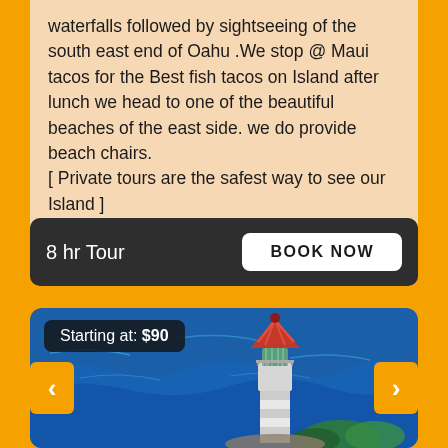waterfalls followed by sightseeing of the south east end of Oahu .We stop @ Maui tacos for the Best fish tacos on Island after lunch we head to one of the beautiful beaches of the east side. we do provide beach chairs.
[ Private tours are the safest way to see our Island ]
8 hr Tour
BOOK NOW
Starting at: $90
[Figure (photo): Aerial view of a lighthouse with a red conical roof and white tower, set against a deep blue ocean backdrop. Navigation arrows visible on left and right sides.]